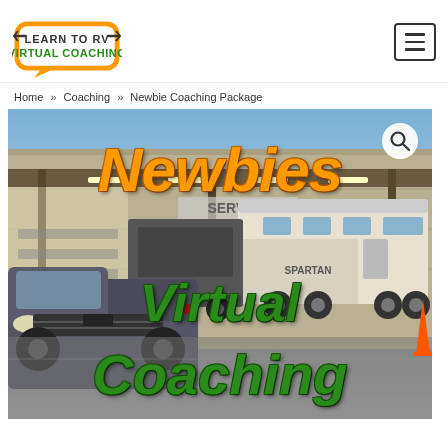Learn to RV Virtual Coaching logo and navigation menu
Home » Coaching » Newbie Coaching Package
[Figure (photo): Photo of RV service facility with a large truck towing a Spartan fifth-wheel trailer, overlaid with bold text reading 'Newbies Virtual Coaching' in orange and green with a search icon in the top right corner]